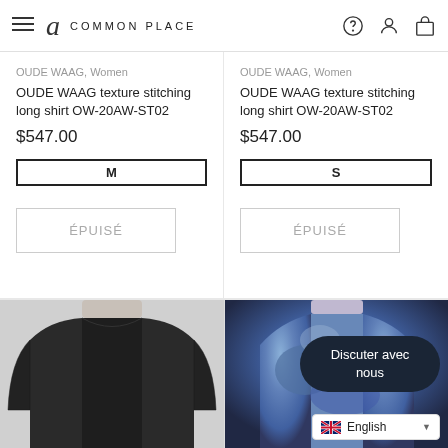Common Place — Navigation header with hamburger menu, logo, help, account, and cart icons
OUDE WAAG, Women
OUDE WAAG texture stitching long shirt OW-20AW-ST02
$547.00
M
ÉPUISÉ
OUDE WAAG, Women
OUDE WAAG texture stitching long shirt OW-20AW-ST02
$547.00
S
ÉPUISÉ
[Figure (photo): Black long shirt worn by a model, upper body view, white background]
[Figure (photo): Blue/purple patterned long shirt worn by a model, upper body view]
Discuter avec nous
English